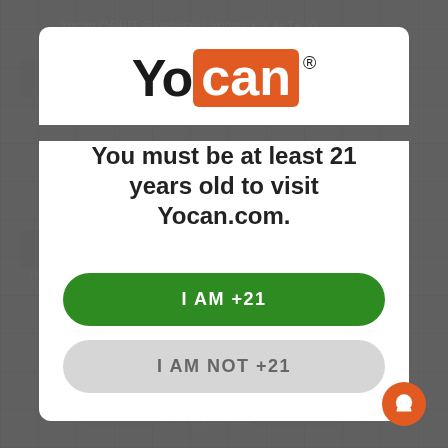[Figure (screenshot): Age verification modal overlay on Yocan.com website. Shows Yocan logo at top, age gate message, and two buttons for age confirmation.]
You must be at least 21 years old to visit Yocan.com.
I AM +21
I AM NOT +21